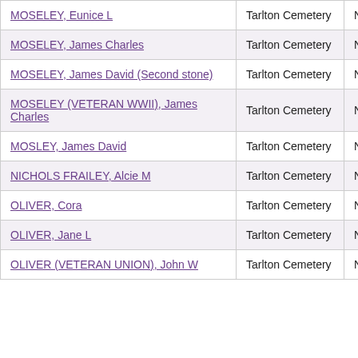| MOSELEY, Eunice L | Tarlton Cemetery | Newton |
| MOSELEY, James Charles | Tarlton Cemetery | Newton |
| MOSELEY, James David (Second stone) | Tarlton Cemetery | Newton |
| MOSELEY (VETERAN WWII), James Charles | Tarlton Cemetery | Newton |
| MOSLEY, James David | Tarlton Cemetery | Newton |
| NICHOLS FRAILEY, Alcie M | Tarlton Cemetery | Newton |
| OLIVER, Cora | Tarlton Cemetery | Newton |
| OLIVER, Jane L | Tarlton Cemetery | Newton |
| OLIVER (VETERAN UNION), John W | Tarlton Cemetery | Newton |